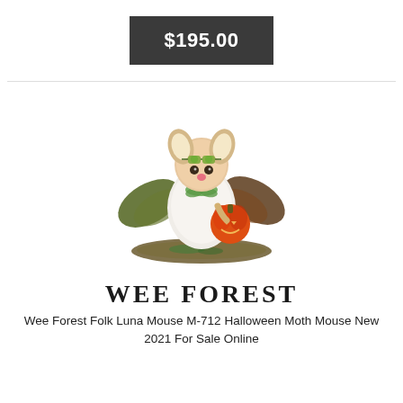$195.00
[Figure (photo): A Wee Forest Folk figurine of a mouse dressed in a moth/bat Halloween costume with green wings, wearing goggles on its head, and holding an orange jack-o-lantern pumpkin. The figurine sits on a natural base.]
WEE FOREST
Wee Forest Folk Luna Mouse M-712 Halloween Moth Mouse New 2021 For Sale Online